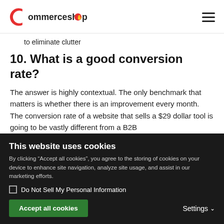CommerceShöp
to eliminate clutter
10. What is a good conversion rate?
The answer is highly contextual. The only benchmark that matters is whether there is an improvement every month. The conversion rate of a website that sells a $29 dollar tool is going to be vastly different from a B2B
This website uses cookies
By clicking “Accept all cookies”, you agree to the storing of cookies on your device to enhance site navigation, analyze site usage, and assist in our marketing efforts.
Do Not Sell My Personal Information
Accept all cookies
Settings